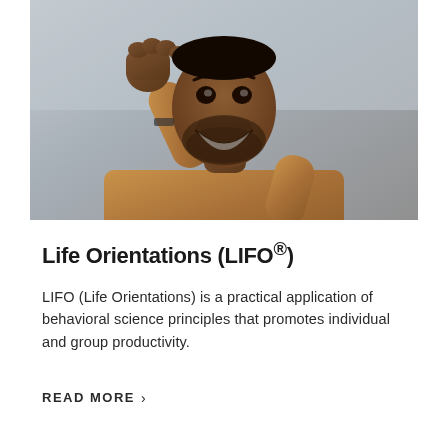[Figure (photo): A smiling Black man in a tan/brown sweatshirt raising his fist in a celebratory gesture, photographed against a light gray background. The image is cropped close showing him from roughly the waist up.]
Life Orientations (LIFO®)
LIFO (Life Orientations) is a practical application of behavioral science principles that promotes individual and group productivity.
READ MORE >